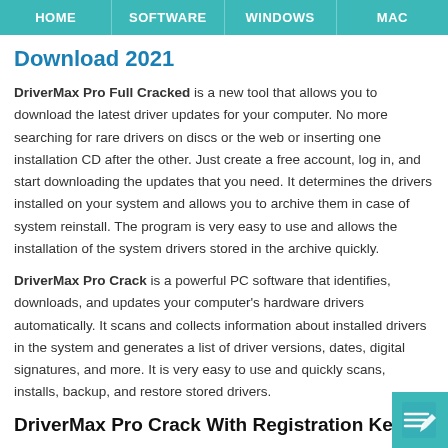HOME | SOFTWARE | WINDOWS | MAC
Download 2021
DriverMax Pro Full Cracked is a new tool that allows you to download the latest driver updates for your computer. No more searching for rare drivers on discs or the web or inserting one installation CD after the other. Just create a free account, log in, and start downloading the updates that you need. It determines the drivers installed on your system and allows you to archive them in case of system reinstall. The program is very easy to use and allows the installation of the system drivers stored in the archive quickly.
DriverMax Pro Crack is a powerful PC software that identifies, downloads, and updates your computer’s hardware drivers automatically. It scans and collects information about installed drivers in the system and generates a list of driver versions, dates, digital signatures, and more. It is very easy to use and quickly scans, installs, backup, and restore stored drivers.
DriverMax Pro Crack With Registration Key